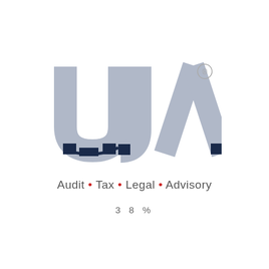[Figure (logo): UJA logo with large stylized grey letters U, J, A with dark navy blue swoosh/underline accents, and registered trademark symbol]
Audit · Tax · Legal · Advisory
38%